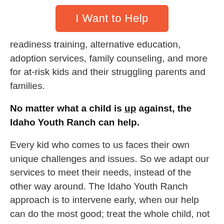[Figure (other): Orange rounded rectangle button with white text 'I Want to Help']
readiness training, alternative education, adoption services, family counseling, and more for at-risk kids and their struggling parents and families.
No matter what a child is up against, the Idaho Youth Ranch can help.
Every kid who comes to us faces their own unique challenges and issues. So we adapt our services to meet their needs, instead of the other way around. The Idaho Youth Ranch approach is to intervene early, when our help can do the most good; treat the whole child, not just one symptom; and finish the job by sticking with each kid as long as they need us.